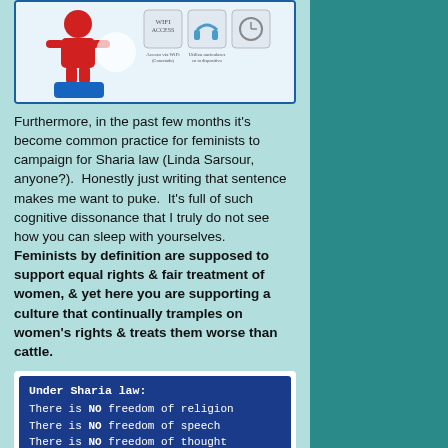[Figure (screenshot): Partial screenshot of an infographic showing icons for wifi/internet access, headphones, and a timer, with red person icon seated, and Spanish text below icons.]
Furthermore, in the past few months it's become common practice for feminists to campaign for Sharia law (Linda Sarsour, anyone?).  Honestly just writing that sentence makes me want to puke.  It's full of such cognitive dissonance that I truly do not see how you can sleep with yourselves.  Feminists by definition are supposed to support equal rights & fair treatment of women, & yet here you are supporting a culture that continually tramples on women's rights & treats them worse than cattle.
[Figure (screenshot): Dark blue card image with white text stating: Under Sharia law: There is NO freedom of religion / There is NO freedom of speech / There is NO freedom of thought]